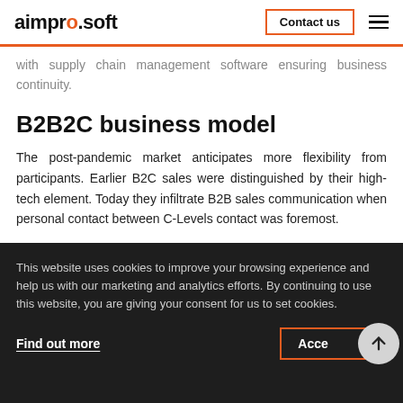aimpro.soft | Contact us
with supply chain management software ensuring business continuity.
B2B2C business model
The post-pandemic market anticipates more flexibility from participants. Earlier B2C sales were distinguished by their high-tech element. Today they infiltrate B2B sales communication when personal contact between C-Levels contact was foremost.
This website uses cookies to improve your browsing experience and help us with our marketing and analytics efforts. By continuing to use this website, you are giving your consent for us to set cookies.
Find out more
Accept